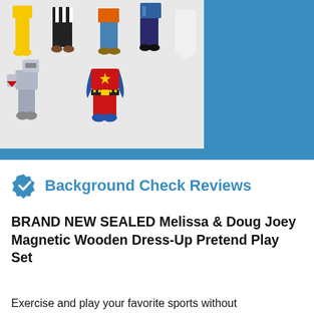[Figure (photo): Product photo showing magnetic wooden dress-up toy pieces including various costume sets: firefighter, knight, cowboy, police officer, superhero, and other character outfits displayed on a light grey background. Large blue rectangle occupies upper right portion of top section.]
Background Check Reviews
BRAND NEW SEALED Melissa & Doug Joey Magnetic Wooden Dress-Up Pretend Play Set
Exercise and play your favorite sports without